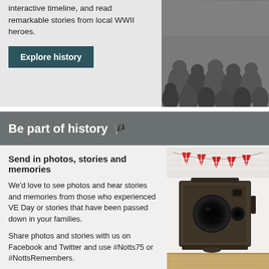Explore history through our photo archives and interactive timeline, and read remarkable stories from local WWII heroes.
Explore history
[Figure (photo): Black and white photo of a crowd of people viewed from behind/above]
Be part of history 🏴
Send in photos, stories and memories
We'd love to see photos and hear stories and memories from those who experienced VE Day or stories that have been passed down in your families.
Share photos and stories with us on Facebook and Twitter and use #Notts75 or #NottsRemembers.
[Figure (photo): Vintage box camera with red union jack bunting flags above it, set against a white brick wall background]
Share your memories